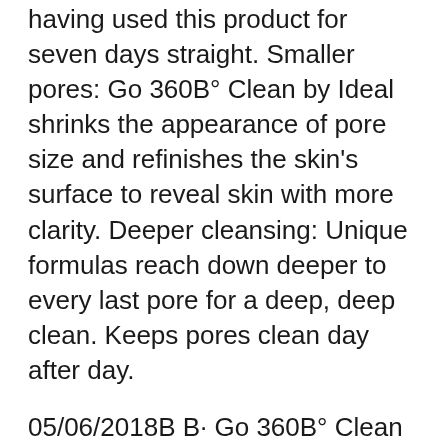having used this product for seven days straight. Smaller pores: Go 360B° Clean by Ideal shrinks the appearance of pore size and refinishes the skin's surface to reveal skin with more clarity. Deeper cleansing: Unique formulas reach down deeper to every last pore for a deep, deep clean. Keeps pores clean day after day.
05/06/2018B B· Go 360B° Clean by Ideal offers a range of expertly formulated, high-foam cleansers that are perfectly calibrated to perform with the Scrublet. The Deep Exfoliating Scrub is a gentle yet effective scrub, which exfoliates skin with natural apricot seed powder and kaolin...